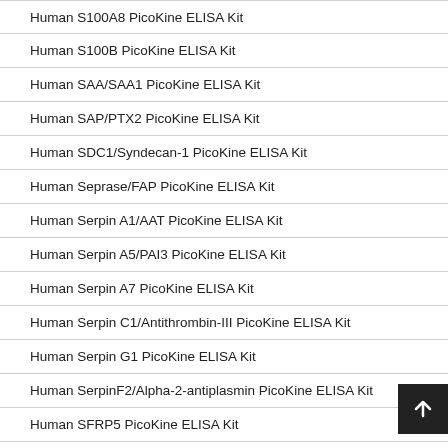Human S100A8 PicoKine ELISA Kit
Human S100B PicoKine ELISA Kit
Human SAA/SAA1 PicoKine ELISA Kit
Human SAP/PTX2 PicoKine ELISA Kit
Human SDC1/Syndecan-1 PicoKine ELISA Kit
Human Seprase/FAP PicoKine ELISA Kit
Human Serpin A1/AAT PicoKine ELISA Kit
Human Serpin A5/PAI3 PicoKine ELISA Kit
Human Serpin A7 PicoKine ELISA Kit
Human Serpin C1/Antithrombin-III PicoKine ELISA Kit
Human Serpin G1 PicoKine ELISA Kit
Human SerpinF2/Alpha-2-antiplasmin PicoKine ELISA Kit
Human SFRP5 PicoKine ELISA Kit
Human SHBG PicoKine ELISA Kit